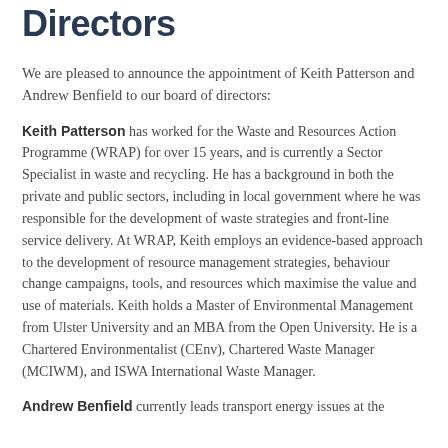Directors
We are pleased to announce the appointment of Keith Patterson and Andrew Benfield to our board of directors:
Keith Patterson has worked for the Waste and Resources Action Programme (WRAP) for over 15 years, and is currently a Sector Specialist in waste and recycling. He has a background in both the private and public sectors, including in local government where he was responsible for the development of waste strategies and front-line service delivery. At WRAP, Keith employs an evidence-based approach to the development of resource management strategies, behaviour change campaigns, tools, and resources which maximise the value and use of materials. Keith holds a Master of Environmental Management from Ulster University and an MBA from the Open University. He is a Chartered Environmentalist (CEnv), Chartered Waste Manager (MCIWM), and ISWA International Waste Manager.
Andrew Benfield currently leads transport energy issues at the